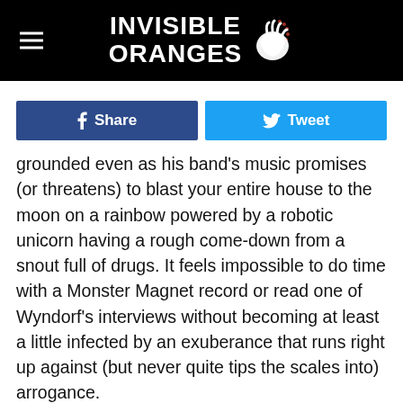INVISIBLE ORANGES
Share   Tweet
grounded even as his band's music promises (or threatens) to blast your entire house to the moon on a rainbow powered by a robotic unicorn having a rough come-down from a snout full of drugs. It feels impossible to do time with a Monster Magnet record or read one of Wyndorf's interviews without becoming at least a little infected by an exuberance that runs right up against (but never quite tips the scales into) arrogance.
Wyndorf's lyrical persona simultaneously evokes a pulp science fiction writer, a hustling pornographer, and a